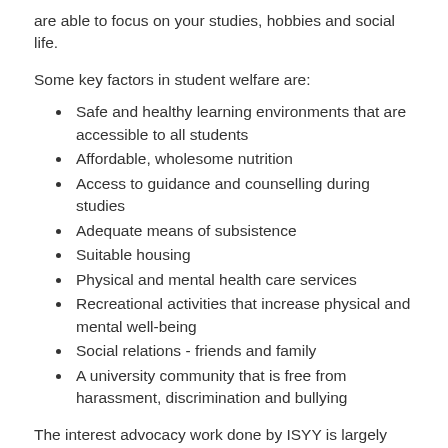are able to focus on your studies, hobbies and social life.
Some key factors in student welfare are:
Safe and healthy learning environments that are accessible to all students
Affordable, wholesome nutrition
Access to guidance and counselling during studies
Adequate means of subsistence
Suitable housing
Physical and mental health care services
Recreational activities that increase physical and mental well-being
Social relations - friends and family
A university community that is free from harassment, discrimination and bullying
The interest advocacy work done by ISYY is largely